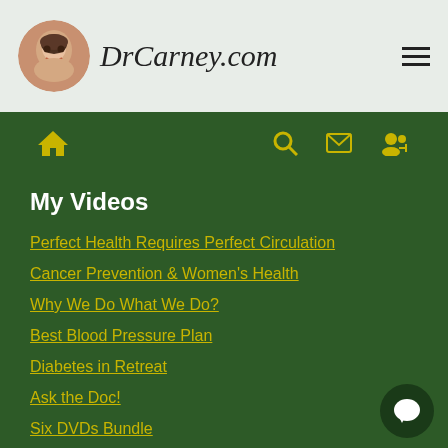DrCarney.com
My Videos
Perfect Health Requires Perfect Circulation
Cancer Prevention & Women's Health
Why We Do What We Do?
Best Blood Pressure Plan
Diabetes in Retreat
Ask the Doc!
Six DVDs Bundle